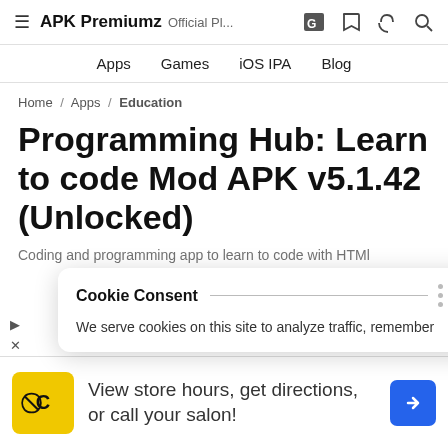APK Premiumz Official Pl...
Apps / Games / iOS IPA / Blog
Home / Apps / Education
Programming Hub: Learn to code Mod APK v5.1.42 (Unlocked)
Coding and programming app to learn to code with HTML
Cookie Consent
We serve cookies on this site to analyze traffic, remember
[Figure (screenshot): Advertisement banner: HC logo, 'View store hours, get directions, or call your salon!' text with blue navigation arrow icon]